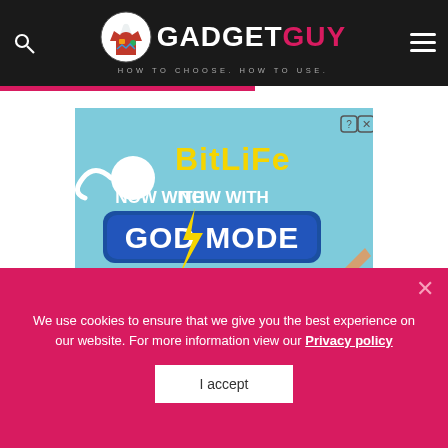GADGET GUY — HOW TO CHOOSE. HOW TO USE.
[Figure (illustration): BitLife advertisement: cyan background with animated sperm character, large yellow 'BitLife' text and 'NOW WITH GOD MODE' in white-on-blue badge, lightning bolt, and two hands touching, yellow arrow hand pointing at a human finger. Small '?X' close controls top right.]
We use cookies to ensure that we give you the best experience on our website. For more information view our Privacy policy
I accept